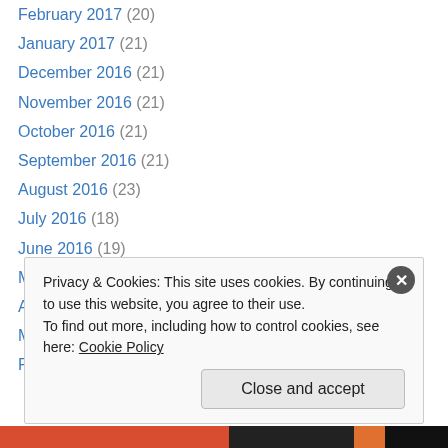February 2017 (20)
January 2017 (21)
December 2016 (21)
November 2016 (21)
October 2016 (21)
September 2016 (21)
August 2016 (23)
July 2016 (18)
June 2016 (19)
May 2016 (22)
April 2016 (21)
March 2016 (23)
February 2016 (21)
Privacy & Cookies: This site uses cookies. By continuing to use this website, you agree to their use. To find out more, including how to control cookies, see here: Cookie Policy
Close and accept